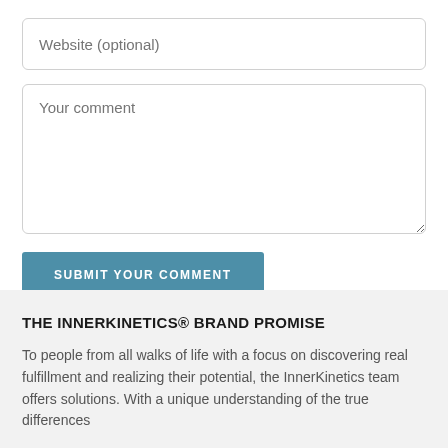Website (optional)
Your comment
SUBMIT YOUR COMMENT
THE INNERKINETICS® BRAND PROMISE
To people from all walks of life with a focus on discovering real fulfillment and realizing their potential, the InnerKinetics team offers solutions.  With a unique understanding of the true differences